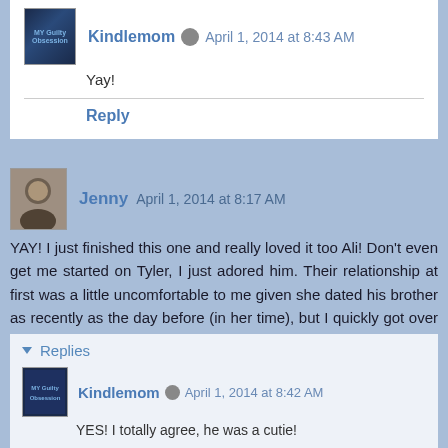Kindlemom • April 1, 2014 at 8:43 AM
Yay!
Reply
Jenny April 1, 2014 at 8:17 AM
YAY! I just finished this one and really loved it too Ali! Don't even get me started on Tyler, I just adored him. Their relationship at first was a little uncomfortable to me given she dated his brother as recently as the day before (in her time), but I quickly got over that because Tyler was just too hard to resist. Can't wait to see what happens next!
Reply
▾ Replies
Kindlemom • April 1, 2014 at 8:42 AM
YES! I totally agree, he was a cutie!